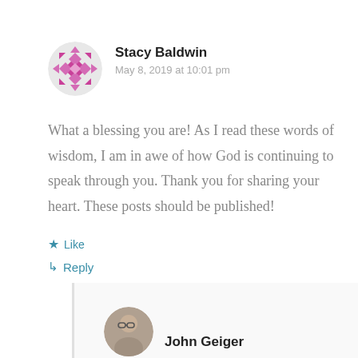Stacy Baldwin
May 8, 2019 at 10:01 pm
What a blessing you are! As I read these words of wisdom, I am in awe of how God is continuing to speak through you. Thank you for sharing your heart. These posts should be published!
Like
Reply
John Geiger